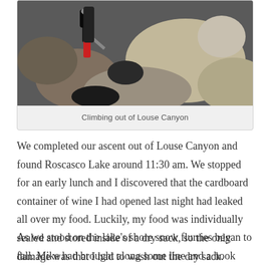[Figure (photo): Person with backpack and red pants climbing over large rocks in Louse Canyon]
Climbing out of Louse Canyon
We completed our ascent out of Louse Canyon and found Roscasco Lake around 11:30 am. We stopped for an early lunch and I discovered that the cardboard container of wine I had opened last night had leaked all over my food. Luckily, my food was individually sealed and stored inside of a dry sack, so the only damage was that I had to wash out the dry sack.
As we stood on the lake's shore snow flurries began to fall. Mike had brought along some line and a hook and spent a while fishing with his trekking pole. He got a bite, but caught